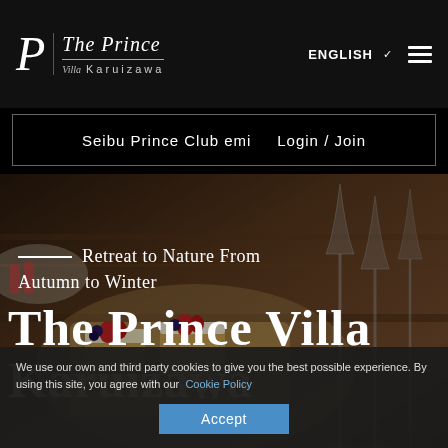The Prince Villa Karuizawa — ENGLISH navigation
Seibu Prince Club emi   Login / Join
[Figure (photo): Background photo of dessert plates with strawberries and blueberries on a wooden table with champagne flutes in the background]
Retreat to Nature From Autumn to Winter
The Prince Villa Karuizawa
We use our own and third party cookies to give you the best possible experience. By using this site, you agree with our Cookie Policy
Accept